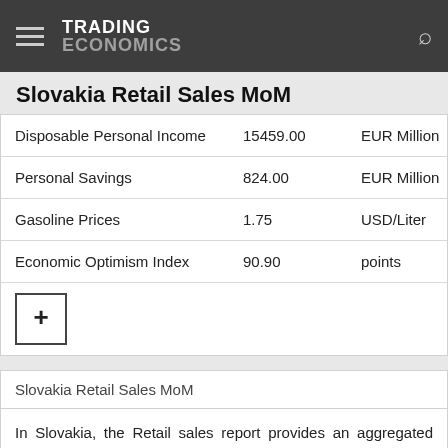TRADING ECONOMICS
Slovakia Retail Sales MoM
|  | Value | Unit | Date |
| --- | --- | --- | --- |
| Disposable Personal Income | 15459.00 | EUR Million | Mar 2 |
| Personal Savings | 824.00 | EUR Million | Mar 2 |
| Gasoline Prices | 1.75 | USD/Liter | Aug 2 |
| Economic Optimism Index | 90.90 | points | Aug 2 |
| + |  |  |  |
Slovakia Retail Sales MoM
In Slovakia, the Retail sales report provides an aggregated measure of sales of retail goods and services over a specific time period. In Slovakia, Retail sales are seasonal,